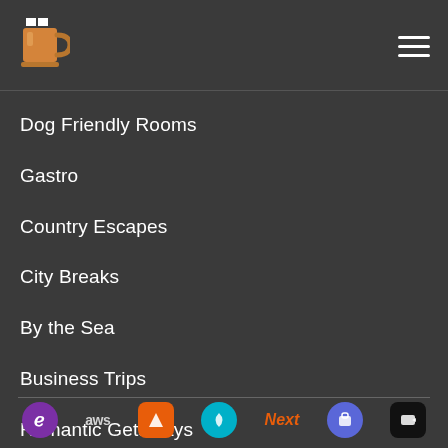[Figure (logo): Beer mug / pub logo with hamburger menu icon on dark header bar]
Dog Friendly Rooms
Gastro
Country Escapes
City Breaks
By the Sea
Business Trips
Romantic Getaways
[Figure (logo): Row of technology/partner logos at footer: purple circle, aws text, orange badge, teal circle, Next orange italic, blue circle, black rounded square]